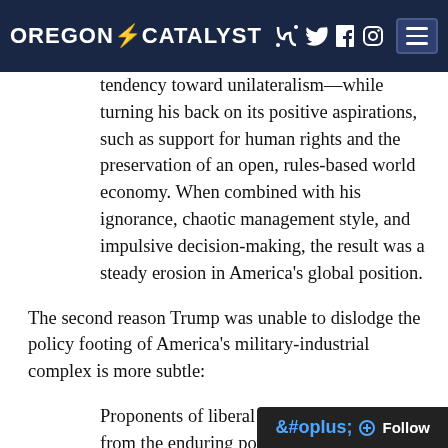OREGON CATALYST
tendency toward unilateralism—while turning his back on its positive aspirations, such as support for human rights and the preservation of an open, rules-based world economy. When combined with his ignorance, chaotic management style, and impulsive decision-making, the result was a steady erosion in America's global position.
The second reason Trump was unable to dislodge the policy footing of America's military-industrial complex is more subtle:
Proponents of liberal hegemony also benefit from the enduring power of nationalism, including the revere